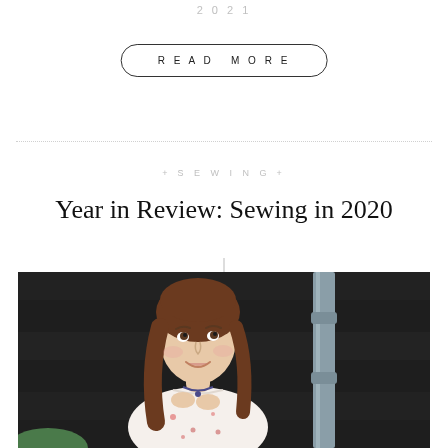2021
READ MORE
SEWING
Year in Review: Sewing in 2020
[Figure (photo): A young woman with long brown hair looking upward and smiling, wearing a white floral dress, standing in front of a dark wooden wall with a drainpipe visible.]